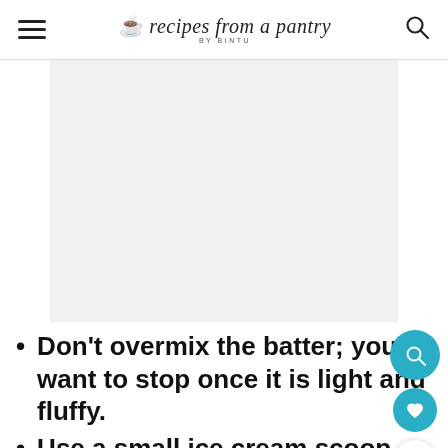recipes from a pantry BY BINTU
[Figure (photo): A large light gray placeholder image area in the center of the page]
Don't overmix the batter; you want to stop once it is light and fluffy.
Use a small ice cream scoop